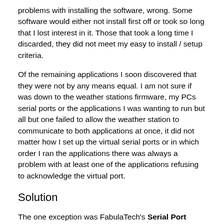problems with installing the software, wrong. Some software would either not install first off or took so long that I lost interest in it. Those that took a long time I discarded, they did not meet my easy to install / setup criteria.
Of the remaining applications I soon discovered that they were not by any means equal. I am not sure if was down to the weather stations firmware, my PCs serial ports or the applications I was wanting to run but all but one failed to allow the weather station to communicate to both applications at once, it did not matter how I set up the virtual serial ports or in which order I ran the applications there was always a problem with at least one of the applications refusing to acknowledge the virtual port.
Solution
The one exception was FabulaTech's Serial Port Splitter offering. I found the program so flexible that I could either set up the ports for sharing or for splitting and with off the shelf setting to boot. In the end I stuck with splitting COM1 to COM3 and COM4, both virtual ports set to Read and Write, I the set the applications to